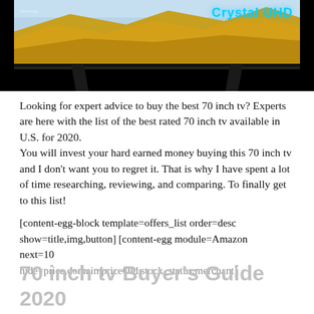[Figure (photo): Samsung Crystal UHD television on stands, showing a landscape image on screen with Crystal UHD branding in top-right corner]
Looking for expert advice to buy the best 70 inch tv? Experts are here with the list of the best rated 70 inch tv available in U.S. for 2020.
You will invest your hard earned money buying this 70 inch tv and I don't want you to regret it. That is why I have spent a lot of time researching, reviewing, and comparing. To finally get to this list!
[content-egg-block template=offers_list order=desc show=title,img,button] [content-egg module=Amazon next=10
hide=price,domain,priceOld,stock_status,merchant]
70 inch tv Buyer's Guide 2020